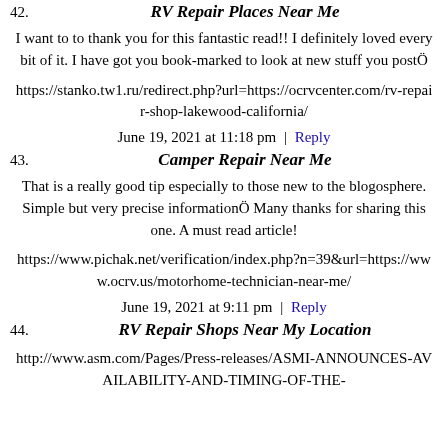42. RV Repair Places Near Me
I want to to thank you for this fantastic read!! I definitely loved every bit of it. I have got you book-marked to look at new stuff you postÖ
https://stanko.tw1.ru/redirect.php?url=https://ocrvcenter.com/rv-repair-shop-lakewood-california/
June 19, 2021 at 11:18 pm | Reply
43. Camper Repair Near Me
That is a really good tip especially to those new to the blogosphere. Simple but very precise informationÖ Many thanks for sharing this one. A must read article!
https://www.pichak.net/verification/index.php?n=39&url=https://www.ocrv.us/motorhome-technician-near-me/
June 19, 2021 at 9:11 pm | Reply
44. RV Repair Shops Near My Location
http://www.asm.com/Pages/Press-releases/ASMI-ANNOUNCES-AVAILABILITY-AND-TIMING-OF-THE-